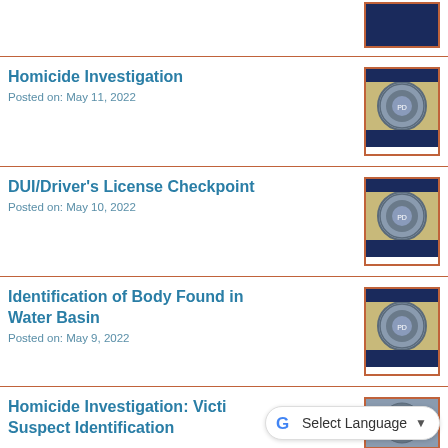[Figure (screenshot): Partial news listing item at top with police department thumbnail showing navy blue rectangle]
Homicide Investigation
Posted on: May 11, 2022
[Figure (photo): Police department badge thumbnail with navy blue top bar, circular badge emblem, and navy blue bottom bar, orange border]
DUI/Driver's License Checkpoint
Posted on: May 10, 2022
[Figure (photo): Police department badge thumbnail with navy blue top bar, circular badge emblem, and navy blue bottom bar, orange border]
Identification of Body Found in Water Basin
Posted on: May 9, 2022
[Figure (photo): Police department badge thumbnail with navy blue top bar, circular badge emblem, and navy blue bottom bar, orange border]
Homicide Investigation: Victim/Suspect Identification